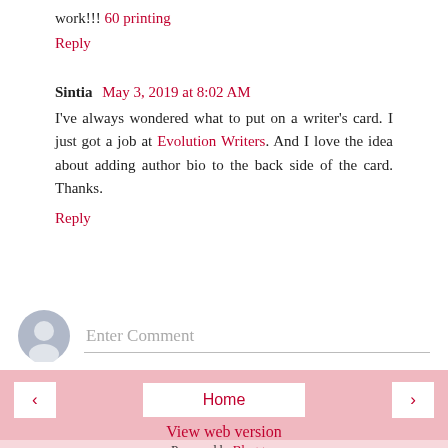work!!! 60 printing
Reply
Sintia  May 3, 2019 at 8:02 AM
I've always wondered what to put on a writer's card. I just got a job at Evolution Writers. And I love the idea about adding author bio to the back side of the card. Thanks.
Reply
[Figure (other): Enter Comment input area with avatar icon]
< Home > View web version Powered by Blogger.